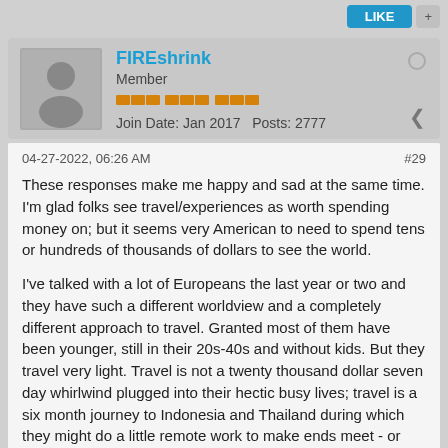FIREshrink Member · Join Date: Jan 2017 · Posts: 2777
04-27-2022, 06:26 AM  #29
These responses make me happy and sad at the same time. I'm glad folks see travel/experiences as worth spending money on; but it seems very American to need to spend tens or hundreds of thousands of dollars to see the world.

I've talked with a lot of Europeans the last year or two and they have such a different worldview and a completely different approach to travel. Granted most of them have been younger, still in their 20s-40s and without kids. But they travel very light. Travel is not a twenty thousand dollar seven day whirlwind plugged into their hectic busy lives; travel is a six month journey to Indonesia and Thailand during which they might do a little remote work to make ends meet - or not. They spend a year in Australia following the harvest, taking large blocks of time off to surf or hike. They spend wine harvest in Bordeaux helping their parents out for a couple